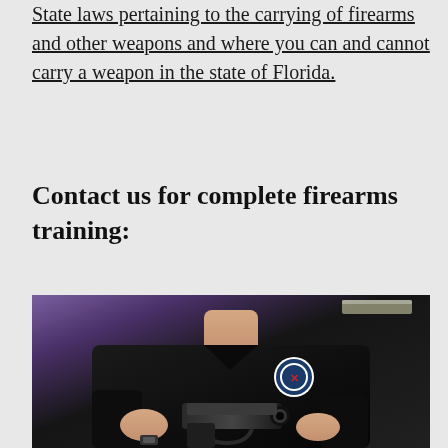State laws pertaining to the carrying of firearms and other weapons and where you can and cannot carry a weapon in the state of Florida.
Contact us for complete firearms training:
[Figure (photo): A person wearing a black polo shirt with a circular badge/logo on the chest, holding a handgun aimed at the viewer, photographed from chest level. Background shows an indoor range setting with purple/light ceiling.]